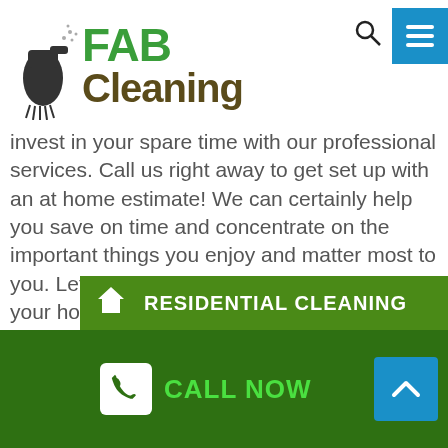[Figure (logo): FAB Cleaning logo with cleaning spray bottle icon, green FAB text and brown Cleaning text]
invest in your spare time with our professional services. Call us right away to get set up with an at home estimate! We can certainly help you save on time and concentrate on the important things you enjoy and matter most to you. Let us address the headache of keeping your house clean:
You have better things to do! Talk to House Cleaning Melbourne right now!
RESIDENTIAL CLEANING
CALL NOW